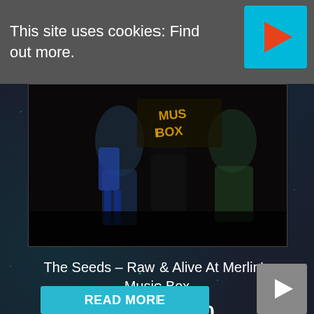This site uses cookies: Find out more.
[Figure (photo): Album cover art for The Seeds – Raw & Alive At Merlin's Music Box, showing band members on a dark background with 'Music Box' text visible]
The Seeds – Raw & Alive At Merlin's Music Box
€15.50 €12.00
READ MORE